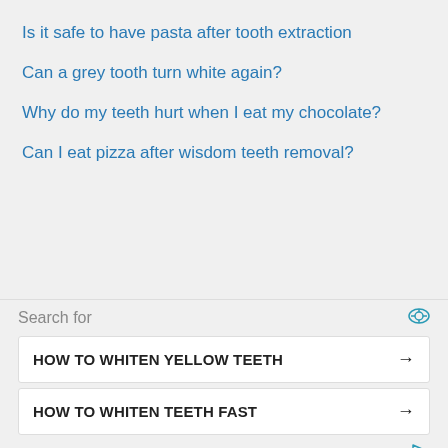Is it safe to have pasta after tooth extraction
Can a grey tooth turn white again?
Why do my teeth hurt when I eat my chocolate?
Can I eat pizza after wisdom teeth removal?
Search for
HOW TO WHITEN YELLOW TEETH
HOW TO WHITEN TEETH FAST
Yahoo! Search | Sponsored